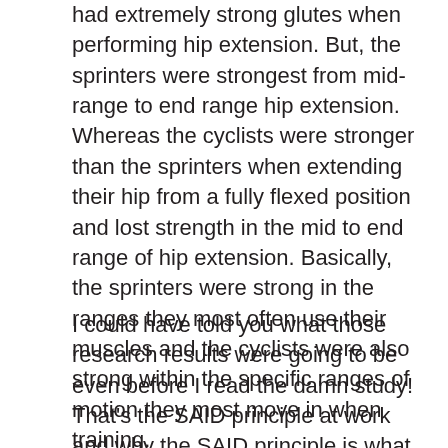had extremely strong glutes when performing hip extension. But, the sprinters were strongest from mid-range to end range hip extension. Whereas the cyclists were stronger than the sprinters when extending their hip from a fully flexed position and lost strength in the mid to end range of hip extension. Basically, the sprinters were strong in the ranges they most often use their muscles and the cyclists were also strong within the specific ranges of motion they most move in when training.
I could have told you what those research results were going to be even before I read the damn study! That's the SAID principle at work and why the SAID principle is what dictates much of how I